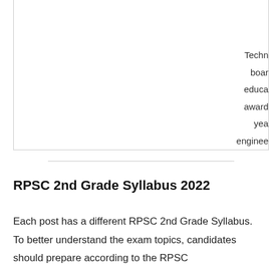| Ad… | g… |
| --- | --- |
|  | Techn… |
|  | boar… |
|  | educa… |
|  | award… |
|  | yea… |
|  | enginee… |
RPSC 2nd Grade Syllabus 2022
Each post has a different RPSC 2nd Grade Syllabus. To better understand the exam topics, candidates should prepare according to the RPSC